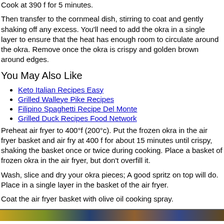Cook at 390 f for 5 minutes.
Then transfer to the cornmeal dish, stirring to coat and gently shaking off any excess. You'll need to add the okra in a single layer to ensure that the heat has enough room to circulate around the okra. Remove once the okra is crispy and golden brown around edges.
You May Also Like
Keto Italian Recipes Easy
Grilled Walleye Pike Recipes
Filipino Spaghetti Recipe Del Monte
Grilled Duck Recipes Food Network
Preheat air fryer to 400°f (200°c). Put the frozen okra in the air fryer basket and air fry at 400 f for about 15 minutes until crispy, shaking the basket once or twice during cooking. Place a basket of frozen okra in the air fryer, but don't overfill it.
Wash, slice and dry your okra pieces; A good spritz on top will do. Place in a single layer in the basket of the air fryer.
Coat the air fryer basket with olive oil cooking spray.
[Figure (photo): Photo strip of cooked food items]
Air Fryer Okra Recipe Recipe Okra Recipes Cooked Veggies Recipes